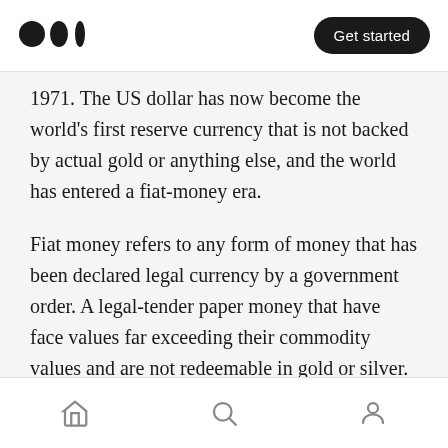Medium logo | Get started
1971. The US dollar has now become the world's first reserve currency that is not backed by actual gold or anything else, and the world has entered a fiat-money era.
Fiat money refers to any form of money that has been declared legal currency by a government order. A legal-tender paper money that have face values far exceeding their commodity values and are not redeemable in gold or silver.
The Decline of US Dollar
Home | Search | Profile